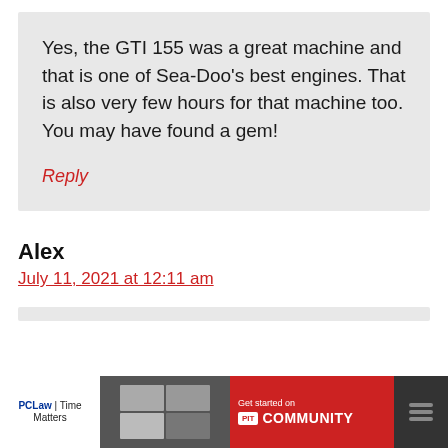Yes, the GTI 155 was a great machine and that is one of Sea-Doo's best engines. That is also very few hours for that machine too. You may have found a gem!
Reply
Alex
July 11, 2021 at 12:11 am
[Figure (screenshot): Advertisement banner at bottom: PCLaw | Time Matters ad with 'Get started on COMMUNITY' call to action on red background]